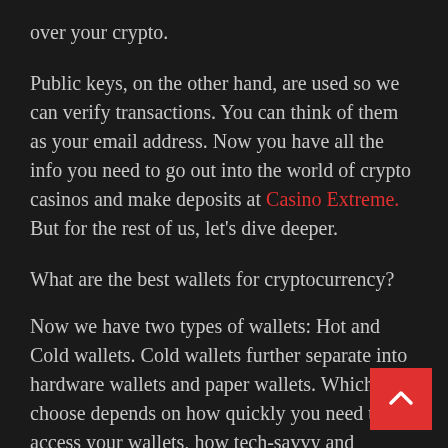over your crypto.
Public keys, on the other hand, are used so we can verify transactions. You can think of them as your email address. Now you have all the info you need to go out into the world of crypto casinos and make deposits at Casino Extreme. But for the rest of us, let's dive deeper.
What are the best wallets for cryptocurrency?
Now we have two types of wallets: Hot and Cold wallets. Cold wallets further separate into hardware wallets and paper wallets. Which you choose depends on how quickly you need to access your wallets, how tech-savvy and generally organized you are. The [hot wallets] are up first.